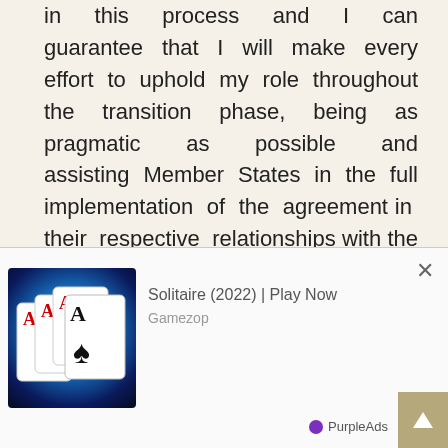in this process and I can guarantee that I will make every effort to uphold my role throughout the transition phase, being as pragmatic as possible and assisting Member States in the full implementation of the agreement in their respective relationships with the current regime. As I said on the day that the United States submitted the draft resolution, the greatest source of happiness for me would be to see the 1737 Committee simply disappear, as that would mean we are fulfilling the floats deliv Committee, like the phoenix, will
[Figure (screenshot): Advertisement overlay showing a Solitaire (2022) game ad from Gamezop with playing cards image, a close button (×), PurpleAds branding, and a scroll-up button.]